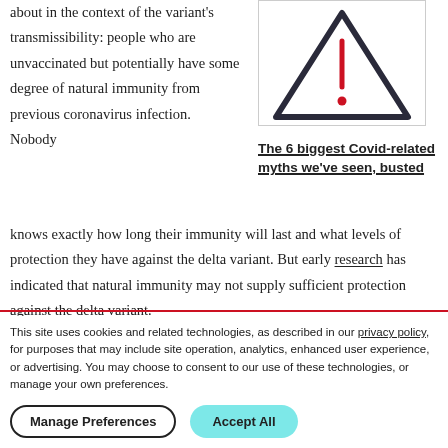about in the context of the variant's transmissibility: people who are unvaccinated but potentially have some degree of natural immunity from previous coronavirus infection. Nobody knows exactly how long their immunity will last and what levels of protection they have against the delta variant. But early research has indicated that natural immunity may not supply sufficient protection against the delta variant.
[Figure (illustration): Warning triangle icon with exclamation mark in red, inside a bordered box]
The 6 biggest Covid-related myths we've seen, busted
This site uses cookies and related technologies, as described in our privacy policy, for purposes that may include site operation, analytics, enhanced user experience, or advertising. You may choose to consent to our use of these technologies, or manage your own preferences.